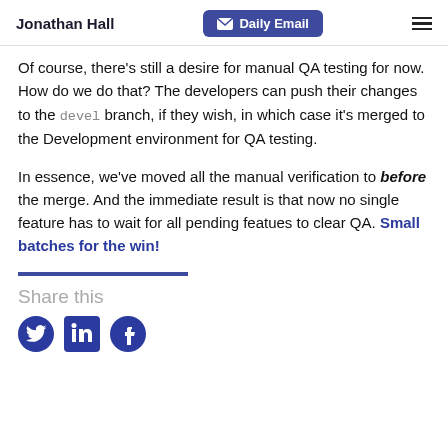Jonathan Hall | Daily Email
Of course, there's still a desire for manual QA testing for now. How do we do that? The developers can push their changes to the devel branch, if they wish, in which case it's merged to the Development environment for QA testing.
In essence, we've moved all the manual verification to before the merge. And the immediate result is that now no single feature has to wait for all pending featues to clear QA. Small batches for the win!
Share this